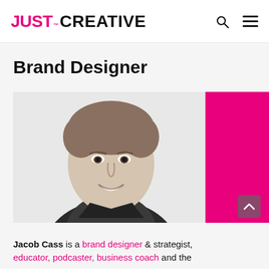JUST™ CREATIVE
Brand Designer
[Figure (photo): Black and white portrait photo of Jacob Cass, a smiling man in a blazer, set against a magenta/pink semicircle background shape]
Jacob Cass is a brand designer & strategist, educator, podcaster, business coach and the